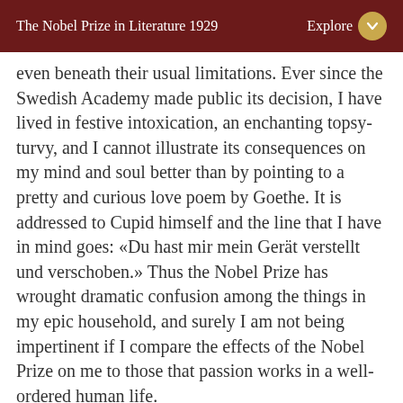The Nobel Prize in Literature 1929   Explore
even beneath their usual limitations. Ever since the Swedish Academy made public its decision, I have lived in festive intoxication, an enchanting topsy-turvy, and I cannot illustrate its consequences on my mind and soul better than by pointing to a pretty and curious love poem by Goethe. It is addressed to Cupid himself and the line that I have in mind goes: «Du hast mir mein Gerät verstellt und verschoben.» Thus the Nobel Prize has wrought dramatic confusion among the things in my epic household, and surely I am not being impertinent if I compare the effects of the Nobel Prize on me to those that passion works in a well-ordered human life.
And yet, how difficult it is for an artist to accept without misgivings such honours as are now showered upon me! Is there a decent and self-